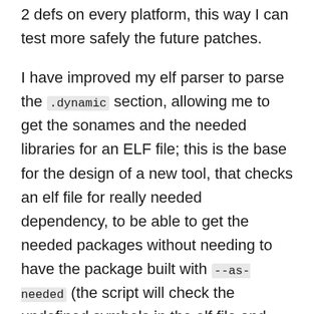2 defs on every platform, this way I can test more safely the future patches.
I have improved my elf parser to parse the .dynamic section, allowing me to get the sonames and the needed libraries for an ELF file; this is the base for the design of a new tool, that checks an elf file for really needed dependency, to be able to get the needed packages without needing to have the package built with --as-needed (the script will check the undefined symbols in the elf file and then check which of the dependencies stated in the NEEDED entries are actually needed); and to be a bit safer, it will also check if the ELF file uses symbols that might indicate runtime dependencies not otherwise identified (dlopen(), exec*